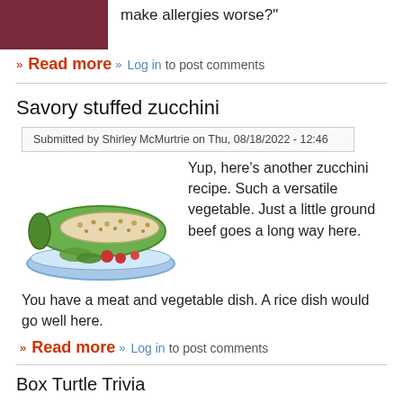[Figure (photo): Dark reddish-purple background photo, partially cropped at top]
make allergies worse?"
» Read more » Log in to post comments
Savory stuffed zucchini
Submitted by Shirley McMurtrie on Thu, 08/18/2022 - 12:46
[Figure (illustration): Illustration of a stuffed zucchini on a blue plate with garnish]
Yup, here's another zucchini recipe. Such a versatile vegetable. Just a little ground beef goes a long way here. You have a meat and vegetable dish. A rice dish would go well here.
» Read more » Log in to post comments
Box Turtle Trivia